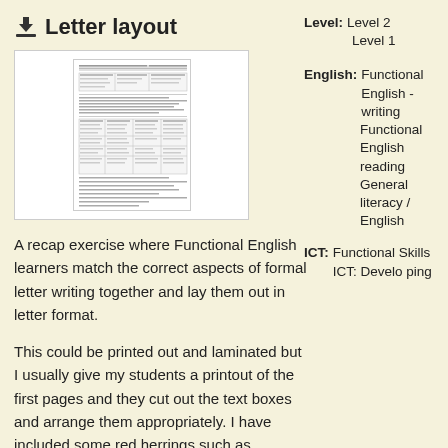Letter layout
[Figure (other): Thumbnail preview image of a letter layout worksheet document]
A recap exercise where Functional English learners match the correct aspects of formal letter writing together and lay them out in letter format.
This could be printed out and laminated but I usually give my students a printout of the first pages and they cut out the text boxes and arrange them appropriately. I have included some red herrings such as incorrect text alignment and unsuitable salutations and closures.
Level: Level 2
Level 1
English: Functional English - writing
Functional English reading
General literacy / English
ICT: Functional Skills ICT: Developing